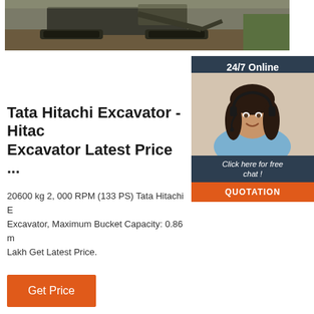[Figure (photo): Hero image showing a Tata Hitachi excavator/construction machine with tracks, viewed from above/side, dark background.]
Tata Hitachi Excavator - Hitachi Excavator Latest Price ...
20600 kg 2, 000 RPM (133 PS) Tata Hitachi E Excavator, Maximum Bucket Capacity: 0.86 m Lakh Get Latest Price.
[Figure (photo): Sidebar widget showing 24/7 Online label, a photo of a smiling woman with headset (customer support agent), text 'Click here for free chat!' and an orange QUOTATION button.]